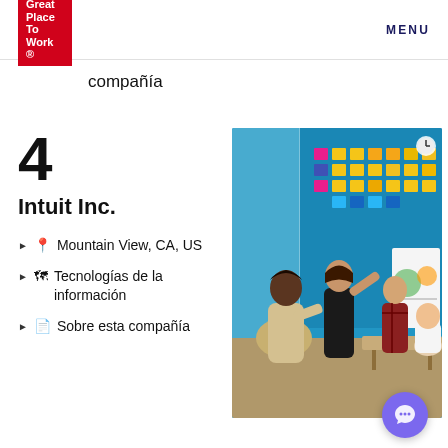Great Place To Work® | MENU
compañía
4
Intuit Inc.
Mountain View, CA, US
Tecnologías de la información
Sobre esta compañía
[Figure (photo): Office scene with people collaborating around a wall covered in colorful sticky notes and charts. One person is pointing at the wall while others observe. Blue walls and modern office setting.]